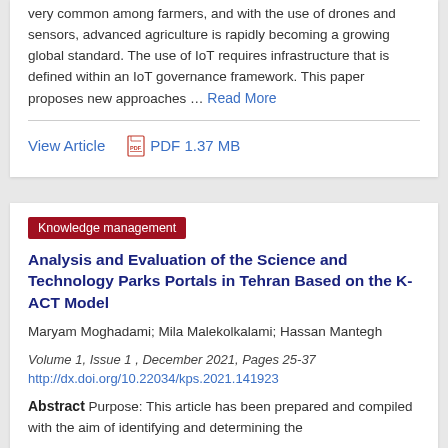very common among farmers, and with the use of drones and sensors, advanced agriculture is rapidly becoming a growing global standard. The use of IoT requires infrastructure that is defined within an IoT governance framework. This paper proposes new approaches … Read More
View Article   PDF 1.37 MB
Knowledge management
Analysis and Evaluation of the Science and Technology Parks Portals in Tehran Based on the K-ACT Model
Maryam Moghadami; Mila Malekolkalami; Hassan Mantegh
Volume 1, Issue 1 , December 2021, Pages 25-37
http://dx.doi.org/10.22034/kps.2021.141923
Abstract   Purpose: This article has been prepared and compiled with the aim of identifying and determining the